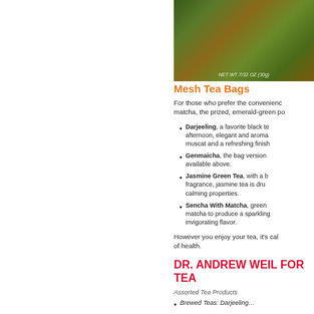[Figure (photo): Top portion of a tea tin/canister with green and brown tea leaves visible, with small white text label]
Mesh Tea Bags
For those who prefer the convenience... matcha, the prized, emerald-green po...
Darjeeling, a favorite black te... afternoon, elegant and aroma... muscat and a refreshing finish...
Genmaicha, the bag version... available above.
Jasmine Green Tea, with a b... fragrance, jasmine tea is dru... calming properties.
Sencha With Matcha, green... matcha to produce a sparkling... invigorating flavor.
However you enjoy your tea, it's cal... of health.
DR. ANDREW WEIL FOR TEA
Assorted Tea Products
Brewed Teas: Darjeeling...